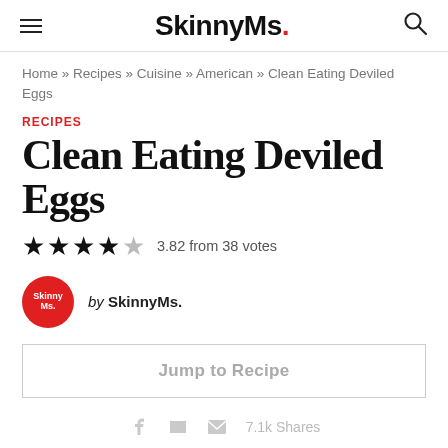SkinnyMs.
Home » Recipes » Cuisine » American » Clean Eating Deviled Eggs
RECIPES
Clean Eating Deviled Eggs
3.82 from 38 votes
by SkinnyMs.
Jump to Recipe
7.1k Shares